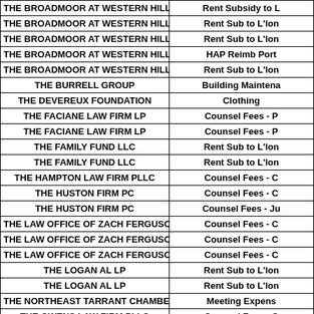| Vendor Name | Description |
| --- | --- |
| THE BROADMOOR AT WESTERN HILLS LTD | Rent Subsidy to L |
| THE BROADMOOR AT WESTERN HILLS LTD | Rent Sub to L'lon |
| THE BROADMOOR AT WESTERN HILLS LTD | Rent Sub to L'lon |
| THE BROADMOOR AT WESTERN HILLS LTD | HAP Reimb Port |
| THE BROADMOOR AT WESTERN HILLS LTD | Rent Sub to L'lon |
| THE BURRELL GROUP | Building Maintena |
| THE DEVEREUX FOUNDATION | Clothing |
| THE FACIANE LAW FIRM LP | Counsel Fees - P |
| THE FACIANE LAW FIRM LP | Counsel Fees - P |
| THE FAMILY FUND LLC | Rent Sub to L'lon |
| THE FAMILY FUND LLC | Rent Sub to L'lon |
| THE HAMPTON LAW FIRM PLLC | Counsel Fees - C |
| THE HUSTON FIRM PC | Counsel Fees - C |
| THE HUSTON FIRM PC | Counsel Fees - Ju |
| THE LAW OFFICE OF ZACH FERGUSON | Counsel Fees - C |
| THE LAW OFFICE OF ZACH FERGUSON | Counsel Fees - C |
| THE LAW OFFICE OF ZACH FERGUSON | Counsel Fees - C |
| THE LOGAN AL LP | Rent Sub to L'lon |
| THE LOGAN AL LP | Rent Sub to L'lon |
| THE NORTHEAST TARRANT CHAMBER | Meeting Expens |
| THE OWENS LAW FIRM PLLC | Counsel Fees - C |
| THE OWENS LAW FIRM PLLC | Counsel Fees - C |
| THE REAL MCCOY LANDSCAPE SERV INC | Landscaping Expe |
| THE REAL MCCOY LANDSCAPE SERV INC | Landscaping Exp |